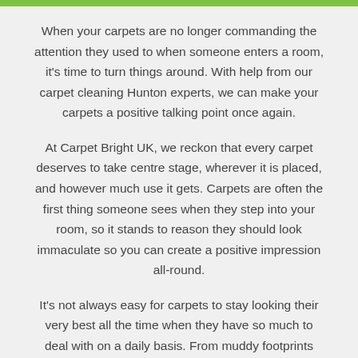When your carpets are no longer commanding the attention they used to when someone enters a room, it's time to turn things around. With help from our carpet cleaning Hunton experts, we can make your carpets a positive talking point once again.
At Carpet Bright UK, we reckon that every carpet deserves to take centre stage, wherever it is placed, and however much use it gets. Carpets are often the first thing someone sees when they step into your room, so it stands to reason they should look immaculate so you can create a positive impression all-round.
It's not always easy for carpets to stay looking their very best all the time when they have so much to deal with on a daily basis. From muddy footprints walking all over them, to accidental spillages and stains, pet urine, fur, hair, dust and their mites, bacteria, germs, mould spores as well as stale, lingering odours.
(partial paragraph visible at bottom)